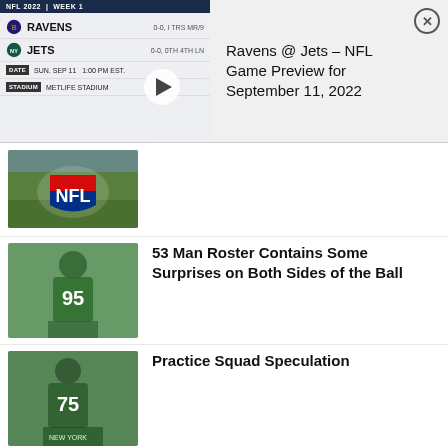[Figure (screenshot): NFL 2022 Week 1 game card showing Ravens vs Jets, Date: SUN. SEP 11 1:00 PM EST, Stadium: METLIFE STADIUM, with play button overlay]
Ravens @ Jets – NFL Game Preview for September 11, 2022
[Figure (photo): NFL logo on grass field]
[Figure (photo): Jets player wearing number 95 in green uniform]
53 Man Roster Contains Some Surprises on Both Sides of the Ball
[Figure (photo): Jets player wearing number 75 in green uniform]
Practice Squad Speculation
[Figure (photo): Jets player in green uniform]
Plenty of Surprise Cuts for Jets as Pinnock and Parks